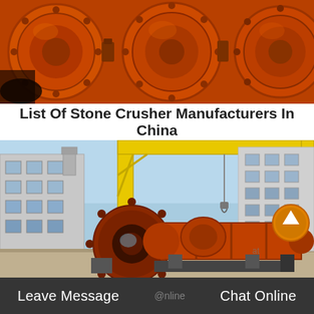[Figure (photo): Close-up photo of large orange industrial ball mill machinery, showing cylindrical metal drums with bolted end caps and mechanical components.]
List Of Stone Crusher Manufacturers In China
[Figure (photo): Outdoor industrial yard showing orange cylindrical ball mill equipment on the ground beneath a large yellow gantry crane structure, with factory buildings in the background. An orange circular arrow/up button is visible on the right side.]
Leave Message  @nline  Chat Online